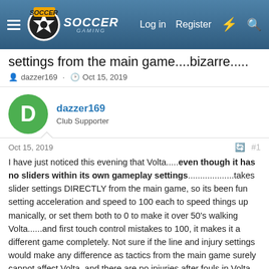Soccer Gaming — Log in Register
settings from the main game....bizarre.....
dazzer169 · Oct 15, 2019
dazzer169
Club Supporter
Oct 15, 2019  #1
I have just noticed this evening that Volta.....even though it has no sliders within its own gameplay settings...................takes slider settings DIRECTLY from the main game, so its been fun setting acceleration and speed to 100 each to speed things up manically, or set them both to 0 to make it over 50's walking Volta......and first touch control mistakes to 100, it makes it a different game completely. Not sure if the line and injury settings would make any difference as tactics from the main game surely cannot affect Volta, and there are no injuries after fouls in Volta anyway.